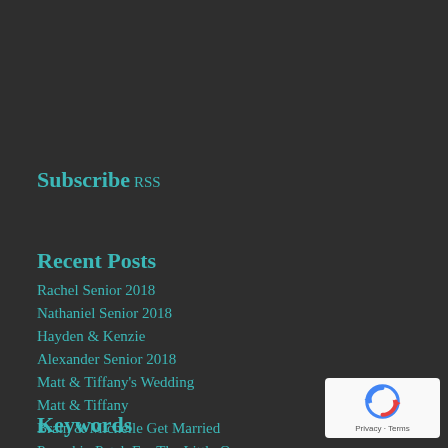Subscribe
RSS
Recent Posts
Rachel Senior 2018
Nathaniel Senior 2018
Hayden & Kenzie
Alexander Senior 2018
Matt & Tiffany's Wedding
Matt & Tiffany
Brain & Michelle Get Married
Pumpkin Patch For The Little Ones
Mallorie: Senior 2014
Our Wish To You Both
Keywords
[Figure (logo): reCAPTCHA badge with Privacy and Terms text]